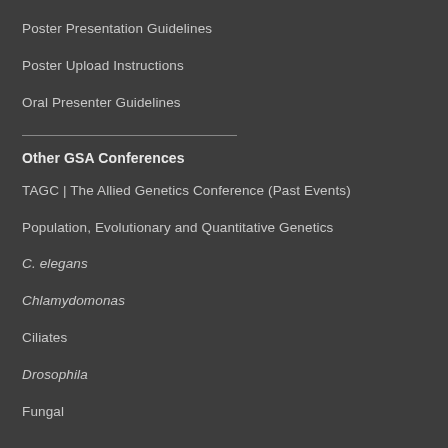Poster Presentation Guidelines
Poster Upload Instructions
Oral Presenter Guidelines
Other GSA Conferences
TAGC | The Allied Genetics Conference (Past Events)
Population, Evolutionary and Quantitative Genetics
C. elegans
Chlamydomonas
Ciliates
Drosophila
Fungal